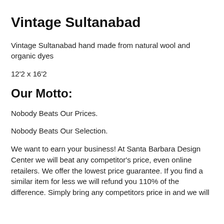Vintage Sultanabad
Vintage Sultanabad hand made from natural wool and organic dyes
12'2 x 16'2
Our Motto:
Nobody Beats Our Prices.
Nobody Beats Our Selection.
We want to earn your business! At Santa Barbara Design Center we will beat any competitor's price, even online retailers. We offer the lowest price guarantee. If you find a similar item for less we will refund you 110% of the difference. Simply bring any competitors price in and we will